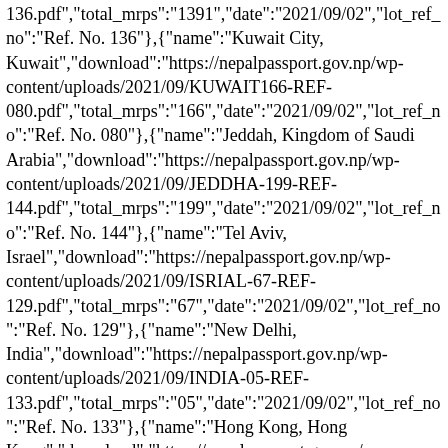136.pdf","total_mrps":"1391","date":"2021/09/02","lot_ref_no":"Ref. No. 136"},{"name":"Kuwait City, Kuwait","download":"https://nepalpassport.gov.np/wp-content/uploads/2021/09/KUWAIT166-REF-080.pdf","total_mrps":"166","date":"2021/09/02","lot_ref_no":"Ref. No. 080"},{"name":"Jeddah, Kingdom of Saudi Arabia","download":"https://nepalpassport.gov.np/wp-content/uploads/2021/09/JEDDHA-199-REF-144.pdf","total_mrps":"199","date":"2021/09/02","lot_ref_no":"Ref. No. 144"},{"name":"Tel Aviv, Israel","download":"https://nepalpassport.gov.np/wp-content/uploads/2021/09/ISRIAL-67-REF-129.pdf","total_mrps":"67","date":"2021/09/02","lot_ref_no":"Ref. No. 129"},{"name":"New Delhi, India","download":"https://nepalpassport.gov.np/wp-content/uploads/2021/09/INDIA-05-REF-133.pdf","total_mrps":"05","date":"2021/09/02","lot_ref_no":"Ref. No. 133"},{"name":"Hong Kong, Hong Kong","download":"https://nepalpassport.gov.np/wp-content/uploads/2021/09/HONGKONG-139-REF-081.pdf","total_mrps":"139","date":"2021/09/02","lot_ref_no":"Ref. No. 081"},{"name":"Paris, France","download":"https://nepalpassport.gov.np/wp-content/uploads/2021/09/FRANCE-116-REF-127.pdf","total_mrps":"116","date":"2021/09/02","lot_ref_no":"Ref